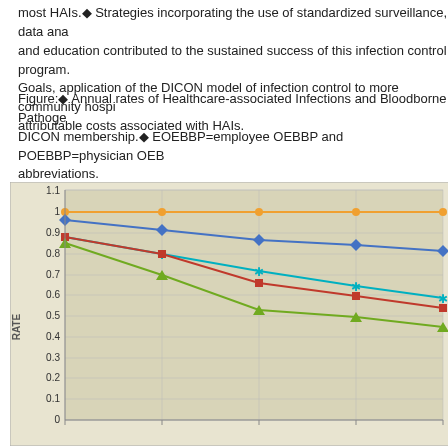most HAIs.◆ Strategies incorporating the use of standardized surveillance, data ana and education contributed to the sustained success of this infection control program. Goals, application of the DICON model of infection control to more community hospi attributable costs associated with HAIs.
Figure:◆ Annual rates of Healthcare-associated Infections and Bloodborne Pathoge DICON membership.◆ EOEBBP=employee OEBBP and POEBBP=physician OEB abbreviations.
[Figure (line-chart): Line chart showing multiple series declining over years of DICON membership. Y-axis from 0 to 1.1. Multiple colored lines (orange, blue, teal, red/dark red, green) showing rates declining over time. Orange line stays near 1.0, blue line declines from ~0.95 to ~0.81, teal line declines similarly, red line declines from ~0.87 to ~0.58, green line declines most steeply from ~0.85 to ~0.49.]